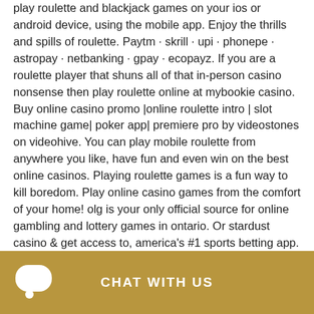play roulette and blackjack games on your ios or android device, using the mobile app. Enjoy the thrills and spills of roulette. Paytm · skrill · upi · phonepe · astropay · netbanking · gpay · ecopayz. If you are a roulette player that shuns all of that in-person casino nonsense then play roulette online at mybookie casino. Buy online casino promo |online roulette intro | slot machine game| poker app| premiere pro by videostones on videohive. You can play mobile roulette from anywhere you like, have fun and even win on the best online casinos. Playing roulette games is a fun way to kill boredom. Play online casino games from the comfort of your home! olg is your only official source for online gambling and lottery games in ontario. Or stardust casino &amp; get access to, america's #1 sports betting app. Table game...
CHAT WITH US